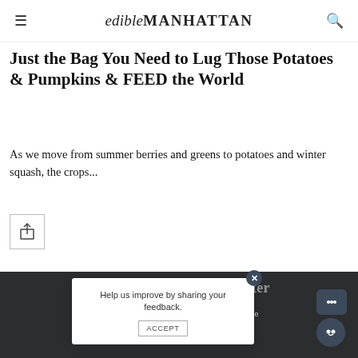edibleMANHATTAN
Just the Bag You Need to Lug Those Potatoes & Pumpkins & FEED the World
As we move from summer berries and greens to potatoes and winter squash, the crops...
[Figure (other): Share button icon — a box with an upward arrow]
Subscribe to Our Newsletter
Our site uses cookies. Lea... ...okie
Help us improve by sharing your feedback.
ACCEPT